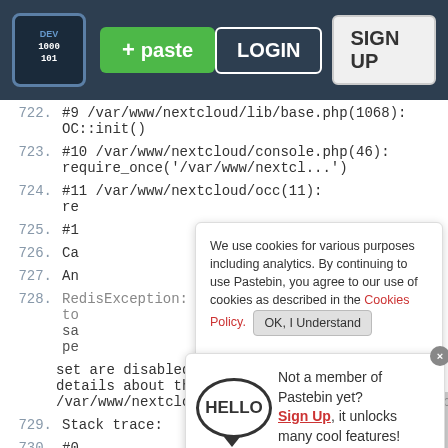Pastebin header with logo, +paste button, LOGIN, SIGN UP
722. #9 /var/www/nextcloud/lib/base.php(1068):
OC::init()
723. #10 /var/www/nextcloud/console.php(46):
require_once('/var/www/nextcl...')
724. #11 /var/www/nextcloud/occ(11):
re
725. #1
726. Ca
727. An
728. RedisException: MISCONF Redis is configured to
sa
pe
set are disabled. Please check Redis logs for
details about the error. in
/var/www/nextcloud/lib/private/Memcache/Redis.php:64
729. Stack trace:
730. #0
Cookie notice: We use cookies for various purposes including analytics. By continuing to use Pastebin, you agree to our use of cookies as described in the Cookies Policy. OK, I Understand
Not a member of Pastebin yet? Sign Up, it unlocks many cool features!